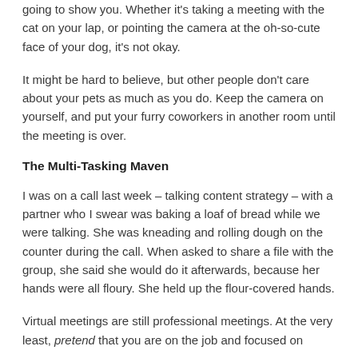going to show you. Whether it's taking a meeting with the cat on your lap, or pointing the camera at the oh-so-cute face of your dog, it's not okay.
It might be hard to believe, but other people don't care about your pets as much as you do. Keep the camera on yourself, and put your furry coworkers in another room until the meeting is over.
The Multi-Tasking Maven
I was on a call last week – talking content strategy – with a partner who I swear was baking a loaf of bread while we were talking. She was kneading and rolling dough on the counter during the call. When asked to share a file with the group, she said she would do it afterwards, because her hands were all floury. She held up the flour-covered hands.
Virtual meetings are still professional meetings. At the very least, pretend that you are on the job and focused on